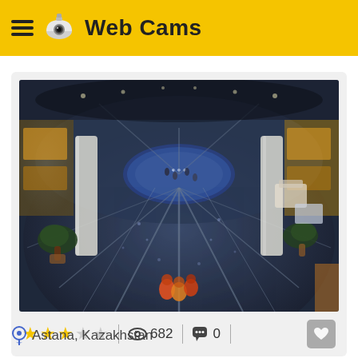Web Cams
[Figure (screenshot): Webcam screenshot showing an overhead fisheye view of a large indoor shopping mall atrium with dark flooring, radiating lines, columns, plants, and people visible.]
★★★☆☆  682  0
Astana, Kazakhstan